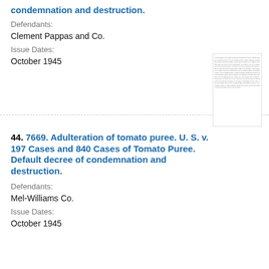condemnation and destruction.
Defendants:
Clement Pappas and Co.
Issue Dates:
October 1945
[Figure (other): Thumbnail image of a legal document page with dense text]
44. 7669. Adulteration of tomato puree. U. S. v. 197 Cases and 840 Cases of Tomato Puree. Default decree of condemnation and destruction.
Defendants:
Mel-Williams Co.
Issue Dates:
October 1945
[Figure (other): Thumbnail image of a legal document page with dense text]